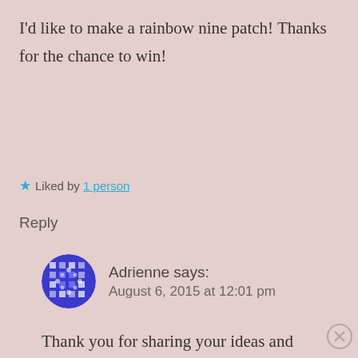I'd like to make a rainbow nine patch! Thanks for the chance to win!
★ Liked by 1 person
Reply
Adrienne says: August 6, 2015 at 12:01 pm
Thank you for sharing your ideas and tutorials! I would make a
Advertisements